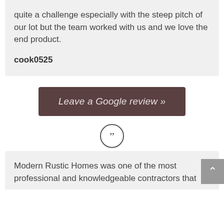quite a challenge especially with the steep pitch of our lot but the team worked with us and we love the end product.
cook0525
Leave a Google review »
[Figure (illustration): Closing double quotation mark icon inside a circle]
Modern Rustic Homes was one of the most professional and knowledgeable contractors that